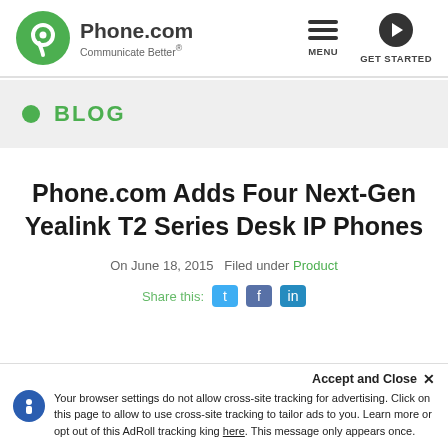[Figure (logo): Phone.com logo with green circle icon, text 'Phone.com' and tagline 'Communicate Better®']
MENU  GET STARTED
BLOG
Phone.com Adds Four Next-Gen Yealink T2 Series Desk IP Phones
On June 18, 2015   Filed under Product
Share this:
Accept and Close ×
Your browser settings do not allow cross-site tracking for advertising. Click on this page to allow to use cross-site tracking to tailor ads to you. Learn more or opt out of this AdRoll tracking king here. This message only appears once.